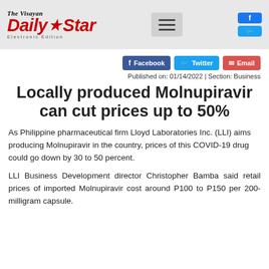The Visayan Daily Star Electronic Edition
Facebook  Twitter  Email
Published on: 01/14/2022 | Section: Business
Locally produced Molnupiravir can cut prices up to 50%
As Philippine pharmaceutical firm Lloyd Laboratories Inc. (LLI) aims producing Molnupiravir in the country, prices of this COVID-19 drug could go down by 30 to 50 percent.
LLI Business Development director Christopher Bamba said retail prices of imported Molnupiravir cost around P100 to P150 per 200-milligram capsule.